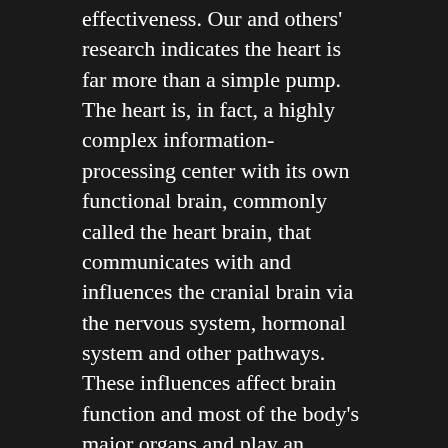effectiveness. Our and others' research indicates the heart is far more than a simple pump. The heart is, in fact, a highly complex information-processing center with its own functional brain, commonly called the heart brain, that communicates with and influences the cranial brain via the nervous system, hormonal system and other pathways. These influences affect brain function and most of the body's major organs and play an important role in mental and emotional experience and the quality of our lives. In recent years, we have conducted a number of research studies that have explored topics such as the electrophysiology of intuition and the degree to which the heart's magnetic field,